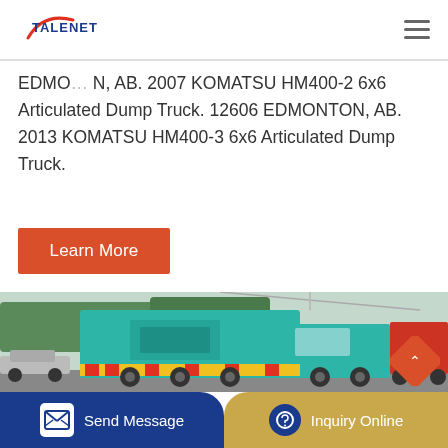[Figure (logo): Talenet logo with red swoosh and blue text]
EDMO… N, AB. 2007 KOMATSU HM400-2 6x6 Articulated Dump Truck. 12606 EDMONTON, AB. 2013 KOMATSU HM400-3 6x6 Articulated Dump Truck.
Learn More
[Figure (photo): Teal/turquoise dump truck (articulated) viewed from rear-left, parked on road with other vehicles and trees in background]
Send Message | Inquiry Online